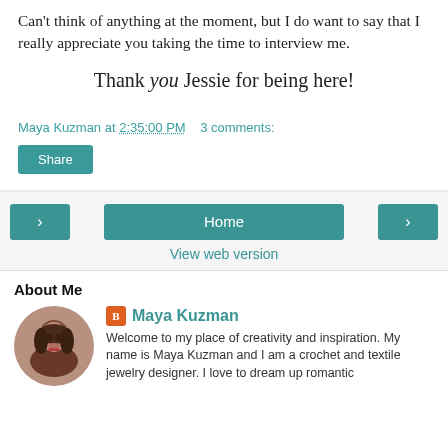Can't think of anything at the moment, but I do want to say that I really appreciate you taking the time to interview me.
Thank you Jessie for being here!
Maya Kuzman at 2:35:00 PM   3 comments:
Share
‹   Home   ›
View web version
About Me
[Figure (photo): Circular profile photo of Maya Kuzman, a woman with dark hair]
Maya Kuzman
Welcome to my place of creativity and inspiration. My name is Maya Kuzman and I am a crochet and textile jewelry designer. I love to dream up romantic